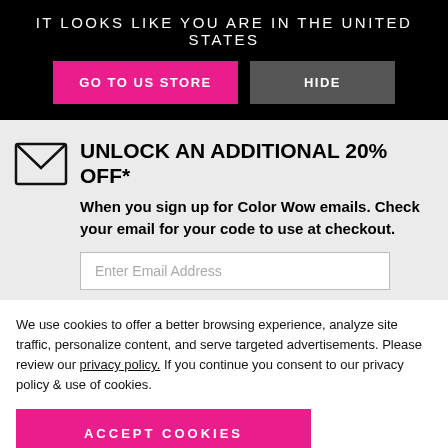IT LOOKS LIKE YOU ARE IN THE UNITED STATES
[Figure (screenshot): Two buttons: 'GO TO US STORE' (pink/magenta) and 'HIDE' (gray) on black background]
UNLOCK AN ADDITIONAL 20% OFF*
When you sign up for Color Wow emails. Check your email for your code to use at checkout.
Enter Email Address
We use cookies to offer a better browsing experience, analyze site traffic, personalize content, and serve targeted advertisements. Please review our privacy policy. If you continue you consent to our privacy policy & use of cookies.
ACCEPT COOKIES